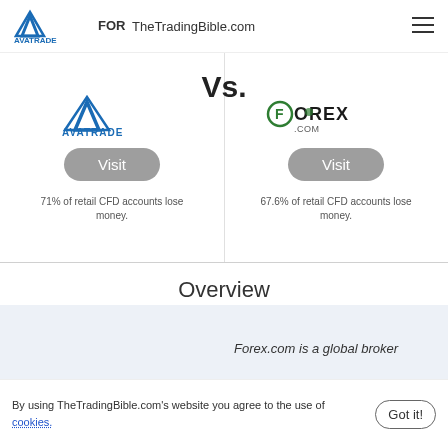TheTradingBible.com
[Figure (logo): AvaTrade logo on left side of comparison header]
[Figure (logo): Forex.com logo on right side of comparison header]
Vs.
Visit
Visit
71% of retail CFD accounts lose money.
67.6% of retail CFD accounts lose money.
Overview
Forex.com is a global broker
By using TheTradingBible.com's website you agree to the use of cookies.